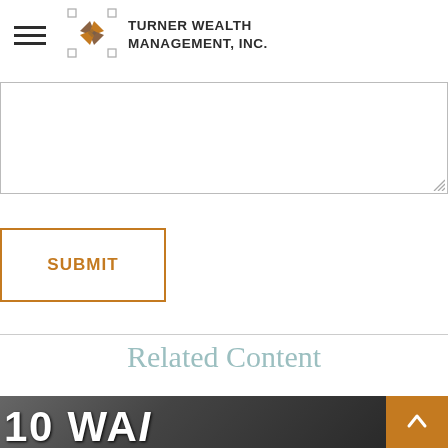Turner Wealth Management, Inc.
[Figure (screenshot): Empty textarea input box with resize handle at bottom right]
SUBMIT
Related Content
[Figure (photo): Dark background photo showing a tablet device being held, with large white bold text '10 WAI...' partially visible at bottom]